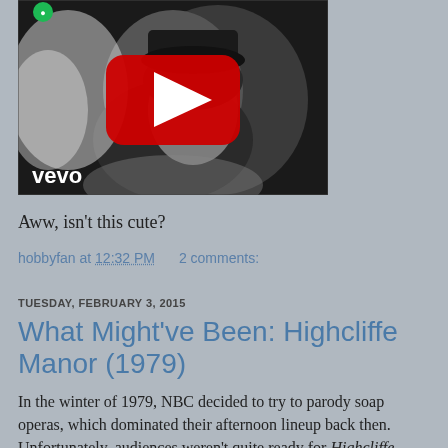[Figure (screenshot): YouTube video thumbnail showing a black and white video still of a woman with bangs, with a YouTube play button overlay and 'vevo' watermark in the bottom left corner.]
Aww, isn't this cute?
hobbyfan at 12:32 PM    2 comments:
TUESDAY, FEBRUARY 3, 2015
What Might've Been: Highcliffe Manor (1979)
In the winter of 1979, NBC decided to try to parody soap operas, which dominated their afternoon lineup back then. Unfortunately, audiences weren't quite ready for Highcliffe Manor, which aspired to at least be a poor man's Soap